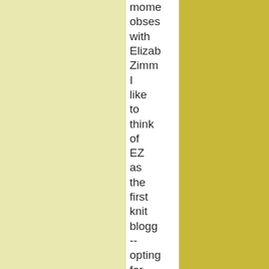moment obsessed with Elizabeth Zimmermann I like to think of EZ as the first knit blogger -- opting for paper in lieu of